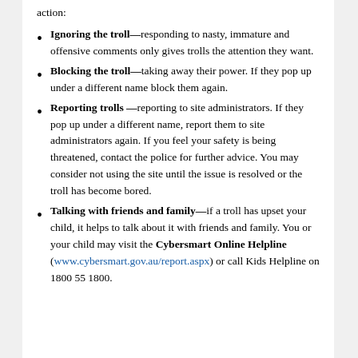action:
Ignoring the troll—responding to nasty, immature and offensive comments only gives trolls the attention they want.
Blocking the troll—taking away their power. If they pop up under a different name block them again.
Reporting trolls —reporting to site administrators. If they pop up under a different name, report them to site administrators again. If you feel your safety is being threatened, contact the police for further advice. You may consider not using the site until the issue is resolved or the troll has become bored.
Talking with friends and family—if a troll has upset your child, it helps to talk about it with friends and family. You or your child may visit the Cybersmart Online Helpline (www.cybersmart.gov.au/report.aspx) or call Kids Helpline on 1800 55 1800.